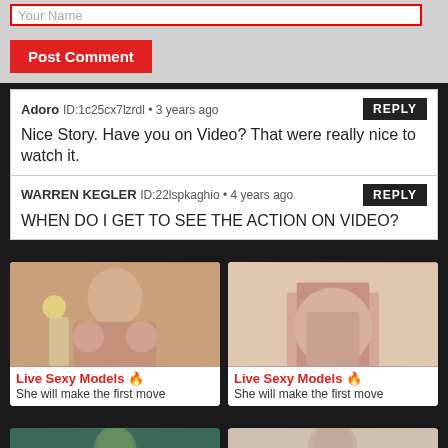Your Name
Post Comment
Adoro ID:1c25cx7lzrdl • 3 years ago — REPLY
Nice Story. Have you on Video? That were really nice to watch it.
WARREN KEGLER ID:22lspkaghio • 4 years ago — REPLY
WHEN DO I GET TO SEE THE ACTION ON VIDEO?
[Figure (photo): Ad card with person photo - Live Sexy Models, She will make the first move]
[Figure (photo): Ad card with person photo - Live Sexy Models, She will make the first move]
[Figure (photo): Partial ad card bottom - person with green hair]
[Figure (photo): Partial ad card bottom - person]